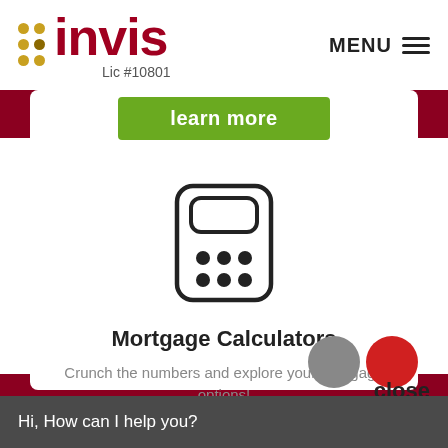[Figure (logo): Invis mortgage broker logo with gold dots and dark red text, Lic #10801]
MENU ≡
[Figure (illustration): Green 'learn more' button on white card over dark red background]
[Figure (illustration): Calculator icon — rounded rectangle with display and 6 buttons]
Mortgage Calculators
Crunch the numbers and explore your mortgage options!
close
Hi, How can I help you?